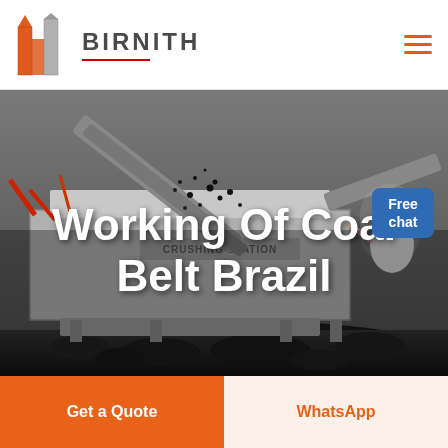[Figure (logo): Birnith company logo with orange/red building icon and BIRNITH text]
BIRNITH
[Figure (photo): Industrial coal crushing station with heavy machinery, conveyor belts, and piles of coal in dark/grey tones]
Working Of Coal Belt Brazil
[Figure (illustration): Customer service representative with headset beside a blue Free chat button]
Free chat
Get a Quote
WhatsApp